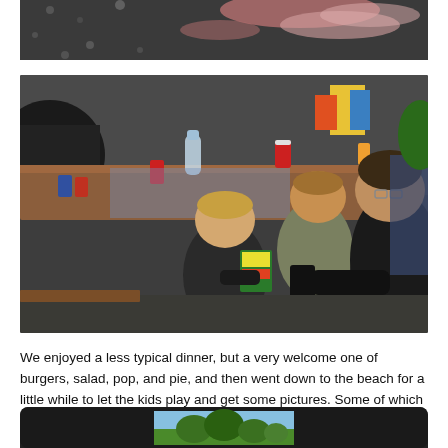[Figure (photo): Partial view of top photo — close-up of colorful chalk art on pavement, dark gravel visible]
[Figure (photo): Outdoor scene at a picnic table; a man crouching helps two young children — one toddler in a black jacket holding a Crayola box, an older child in olive jacket, and soft drinks/water bottles on the table behind them]
We enjoyed a less typical dinner, but a very welcome one of burgers, salad, pop, and pie, and then went down to the beach for a little while to let the kids play and get some pictures. Some of which turned out great!
[Figure (photo): Bottom of page: dark-framed photo partially visible, showing a landscape with trees and sky]